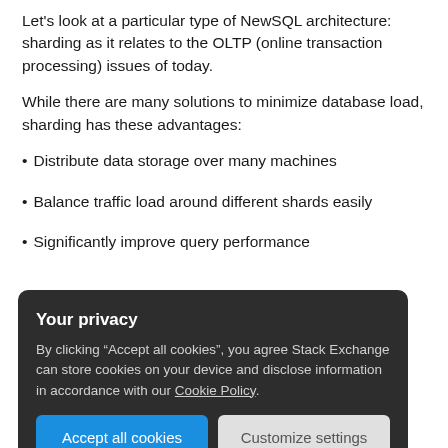Let's look at a particular type of NewSQL architecture: sharding as it relates to the OLTP (online transaction processing) issues of today.
While there are many solutions to minimize database load, sharding has these advantages:
Distribute data storage over many machines
Balance traffic load around different shards easily
Significantly improve query performance
Your privacy
By clicking “Accept all cookies”, you agree Stack Exchange can store cookies on your device and disclose information in accordance with our Cookie Policy.
Accept all cookies
Customize settings
cloud computing resources across users thanks to its